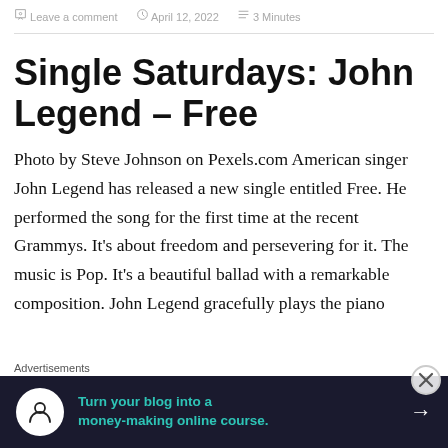Leave a comment   April 12, 2022   3 Minutes
Single Saturdays: John Legend – Free
Photo by Steve Johnson on Pexels.com American singer John Legend has released a new single entitled Free. He performed the song for the first time at the recent Grammys. It's about freedom and persevering for it. The music is Pop. It's a beautiful ballad with a remarkable composition. John Legend gracefully plays the piano
Advertisements
[Figure (infographic): Advertisement banner: dark navy background with circular white icon (person/tree silhouette), teal text reading 'Turn your blog into a money-making online course.' with a white arrow pointing right]